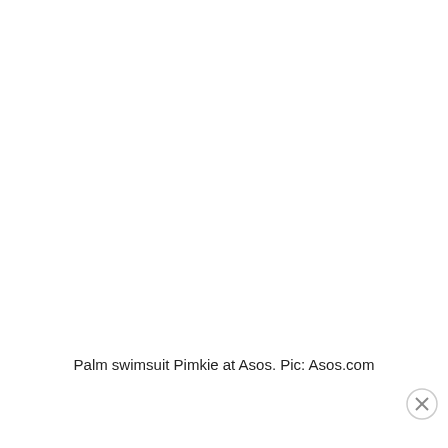[Figure (photo): Large white/blank image area representing a missing or unloaded photo of a palm swimsuit]
Palm swimsuit Pimkie at Asos. Pic: Asos.com
[Figure (other): Advertisement banner with WordPress VIP logo, Facebook-themed graphic tiles, and a 'Learn more' button]